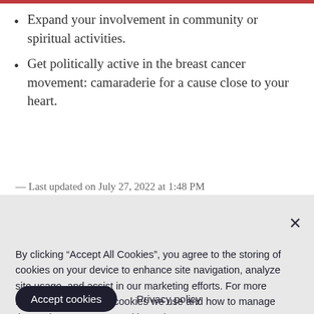Expand your involvement in community or spiritual activities.
Get politically active in the breast cancer movement: camaraderie for a cause close to your heart.
— Last updated on July 27, 2022 at 1:48 PM
By clicking “Accept All Cookies”, you agree to the storing of cookies on your device to enhance site navigation, analyze site usage, and assist in our marketing efforts. For more information about the cookies we use and how to manage them, please see our Cookie Notice.
Accept cookies
Privacy policy